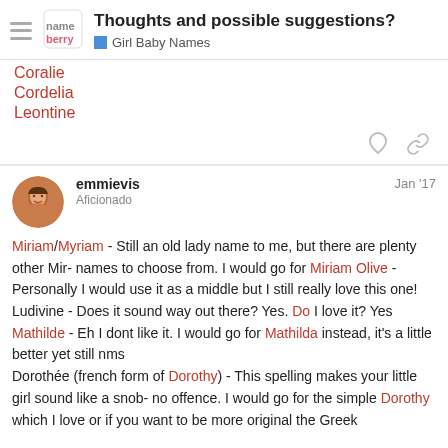Thoughts and possible suggestions? | Girl Baby Names
Coralie
Cordelia
Leontine
emmievis
Aficionado
Jan '17
Miriam/Myriam - Still an old lady name to me, but there are plenty other Mir- names to choose from. I would go for Miriam Olive - Personally I would use it as a middle but I still really love this one!
Ludivine - Does it sound way out there? Yes. Do I love it? Yes
Mathilde - Eh I dont like it. I would go for Mathilda instead, it's a little better yet still nms
Dorothée (french form of Dorothy) - This spelling makes your little girl sound like a snob- no offence. I would go for the simple Dorothy which I love or if you want to be more original the Greek